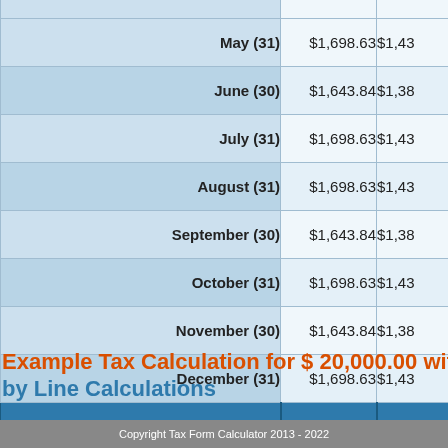| Month | Value 1 | Value 2 |
| --- | --- | --- |
| May (31) | $1,698.63 | $1,43… |
| June (30) | $1,643.84 | $1,38… |
| July (31) | $1,698.63 | $1,43… |
| August (31) | $1,698.63 | $1,43… |
| September (30) | $1,643.84 | $1,38… |
| October (31) | $1,698.63 | $1,43… |
| November (30) | $1,643.84 | $1,38… |
| December (31) | $1,698.63 | $1,43… |
| Total | $20,000.00 | $16,89… |
Example Tax Calculation for $ 20,000.00 with by Line Calculations
Copyright Tax Form Calculator 2013 - 2022